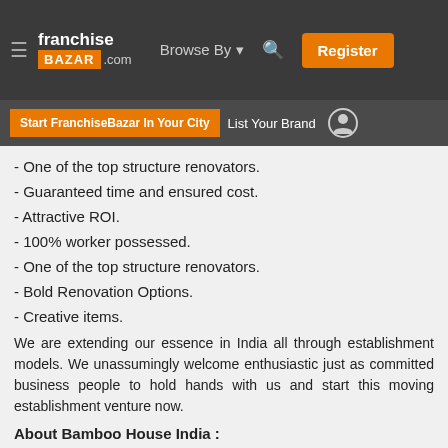franchise BAZAR .com | Browse By | Register
Start FranchiseBazar In Your City | List Your Brand
- One of the top structure renovators.
- Guaranteed time and ensured cost.
- Attractive ROI.
- 100% worker possessed.
- One of the top structure renovators.
- Bold Renovation Options.
- Creative items.
We are extending our essence in India all through establishment models. We unassumingly welcome enthusiastic just as committed business people to hold hands with us and start this moving establishment venture now.
About Bamboo House India :
From the lack of paper to the draining ozone layer to joblessness the